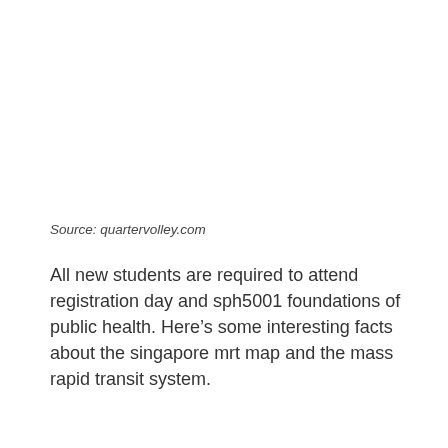Source: quartervolley.com
All new students are required to attend registration day and sph5001 foundations of public health. Here's some interesting facts about the singapore mrt map and the mass rapid transit system.